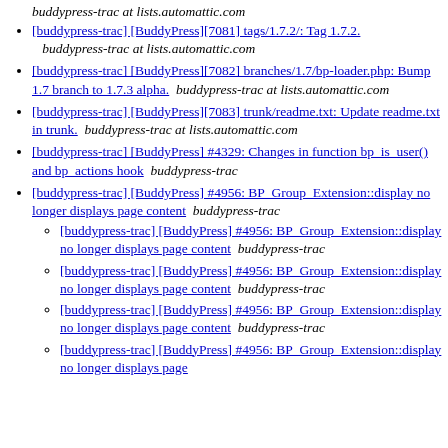buddypress-trac at lists.automattic.com
[buddypress-trac] [BuddyPress][7081] tags/1.7.2/: Tag 1.7.2.   buddypress-trac at lists.automattic.com
[buddypress-trac] [BuddyPress][7082] branches/1.7/bp-loader.php: Bump 1.7 branch to 1.7.3 alpha.   buddypress-trac at lists.automattic.com
[buddypress-trac] [BuddyPress][7083] trunk/readme.txt: Update readme.txt in trunk.   buddypress-trac at lists.automattic.com
[buddypress-trac] [BuddyPress] #4329: Changes in function bp_is_user() and bp_actions hook   buddypress-trac
[buddypress-trac] [BuddyPress] #4956: BP_Group_Extension::display no longer displays page content   buddypress-trac
[buddypress-trac] [BuddyPress] #4956: BP_Group_Extension::display no longer displays page content   buddypress-trac
[buddypress-trac] [BuddyPress] #4956: BP_Group_Extension::display no longer displays page content   buddypress-trac
[buddypress-trac] [BuddyPress] #4956: BP_Group_Extension::display no longer displays page content   buddypress-trac
[buddypress-trac] [BuddyPress] #4956: BP_Group_Extension::display no longer displays page content